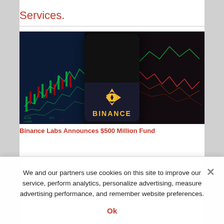Services.
[Figure (photo): Binance app logo displayed on a smartphone screen against a blurred stock market chart background with green and red trading charts]
Binance Labs Announces $500 Million Fund
We and our partners use cookies on this site to improve our service, perform analytics, personalize advertising, measure advertising performance, and remember website preferences.
Ok